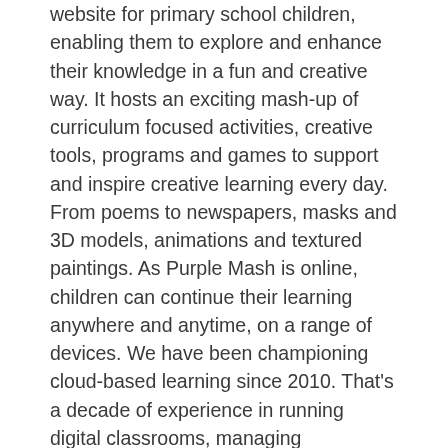website for primary school children, enabling them to explore and enhance their knowledge in a fun and creative way. It hosts an exciting mash-up of curriculum focused activities, creative tools, programs and games to support and inspire creative learning every day. From poems to newspapers, masks and 3D models, animations and textured paintings. As Purple Mash is online, children can continue their learning anywhere and anytime, on a range of devices. We have been championing cloud-based learning since 2010. That’s a decade of experience in running digital classrooms, managing homework, and getting support from parents. Powerful educational resources accessed through an easy-to-use interface makes Purple Mash the ideal platform for remote education.